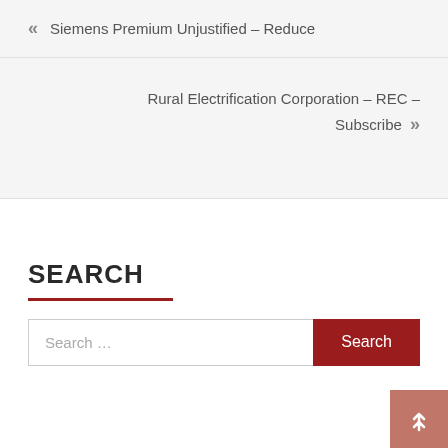« Siemens Premium Unjustified – Reduce
Rural Electrification Corporation – REC – Subscribe »
SEARCH
Search …